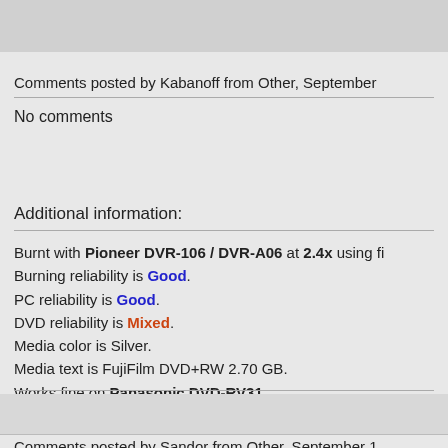Comments posted by Kabanoff from Other, September
No comments
Additional information:
Burnt with Pioneer DVR-106 / DVR-A06 at 2.4x using fi
Burning reliability is Good.
PC reliability is Good.
DVD reliability is Mixed.
Media color is Silver.
Media text is FujiFilm DVD+RW 2.70 GB.
Works fine on Panasonic DVD-RV31
Does not work on JVC XV-FA900BK
Comments posted by Sandor from Other, September 1